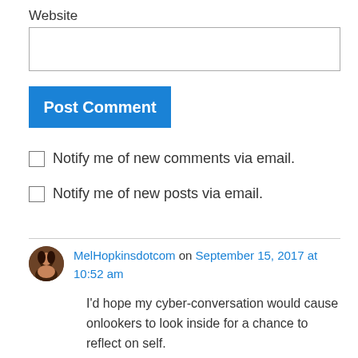Website
[Figure (other): Website text input field (empty)]
Post Comment
Notify me of new comments via email.
Notify me of new posts via email.
MelHopkinsdotcom on September 15, 2017 at 10:52 am
I'd hope my cyber-conversation would cause onlookers to look inside for a chance to reflect on self.